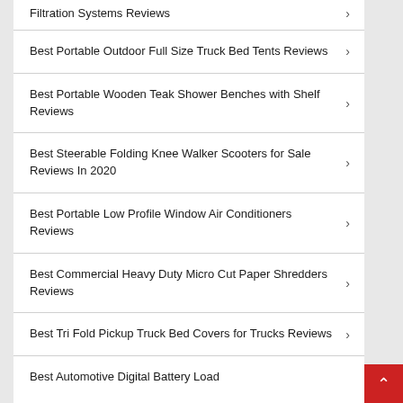Filtration Systems Reviews
Best Portable Outdoor Full Size Truck Bed Tents Reviews
Best Portable Wooden Teak Shower Benches with Shelf Reviews
Best Steerable Folding Knee Walker Scooters for Sale Reviews In 2020
Best Portable Low Profile Window Air Conditioners Reviews
Best Commercial Heavy Duty Micro Cut Paper Shredders Reviews
Best Tri Fold Pickup Truck Bed Covers for Trucks Reviews
Best Automotive Digital Battery Load